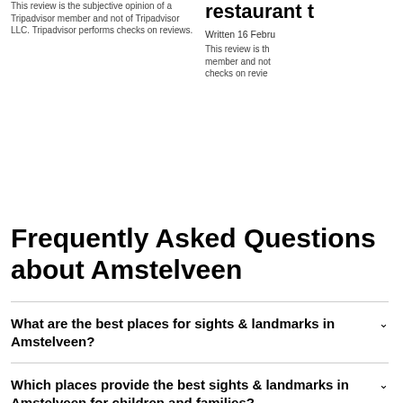This review is the subjective opinion of a Tripadvisor member and not of Tripadvisor LLC. Tripadvisor performs checks on reviews.
restaurant t…
Written 16 Febru…
This review is th… member and not… checks on revie…
Frequently Asked Questions about Amstelveen
What are the best places for sights & landmarks in Amstelveen?
Which places provide the best sights & landmarks in Amstelveen for children and families?